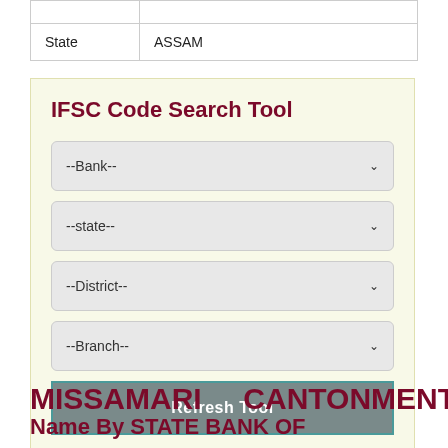|  |  |
| State | ASSAM |
[Figure (screenshot): IFSC Code Search Tool widget with four dropdown menus (Bank, state, District, Branch) and a Refresh Tool button, on a light yellow background]
MISSAMARI    CANTONMENT
Name By STATE BANK OF